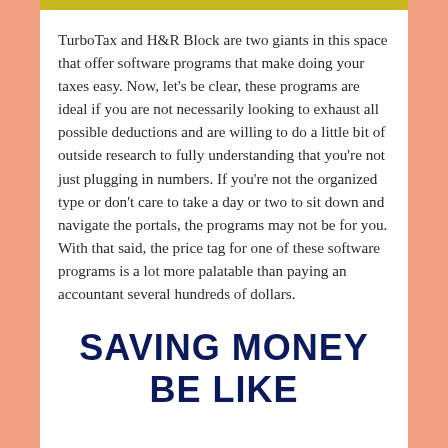TurboTax and H&R Block are two giants in this space that offer software programs that make doing your taxes easy. Now, let's be clear, these programs are ideal if you are not necessarily looking to exhaust all possible deductions and are willing to do a little bit of outside research to fully understanding that you're not just plugging in numbers. If you're not the organized type or don't care to take a day or two to sit down and navigate the portals, the programs may not be for you. With that said, the price tag for one of these software programs is a lot more palatable than paying an accountant several hundreds of dollars.
SAVING MONEY BE LIKE